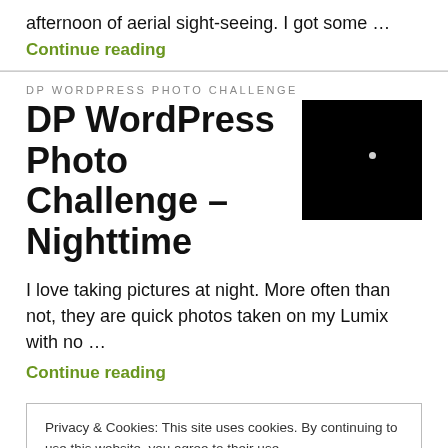afternoon of aerial sight-seeing. I got some …
Continue reading
DP WORDPRESS PHOTO CHALLENGE
DP WordPress Photo Challenge – Nighttime
[Figure (photo): Dark/nighttime photo, nearly black with a small bright dot (possibly the moon or a light)]
I love taking pictures at night. More often than not, they are quick photos taken on my Lumix with no …
Continue reading
Privacy & Cookies: This site uses cookies. By continuing to use this website, you agree to their use.
To find out more, including how to control cookies, see here: Our Cookie Policy
Close and accept
My first thought upon seeing the theme for this week's